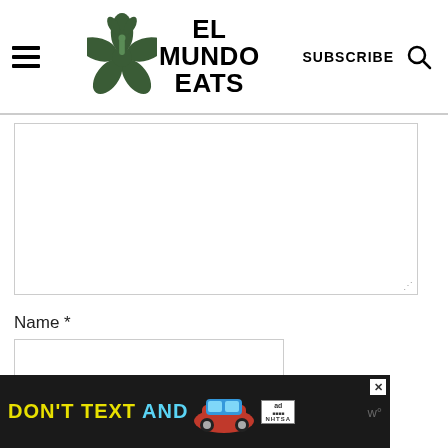[Figure (logo): El Mundo Eats logo with hibiscus flower and navigation elements: hamburger menu, logo, SUBSCRIBE text, and search icon]
[Figure (other): Large empty textarea comment input box with resize handle]
Name *
[Figure (other): Name text input field]
Email *
[Figure (other): Email text input field (partially visible)]
[Figure (other): Advertisement banner: DON'T TEXT AND with red car graphic, ad label, NHTSA logo, close button]